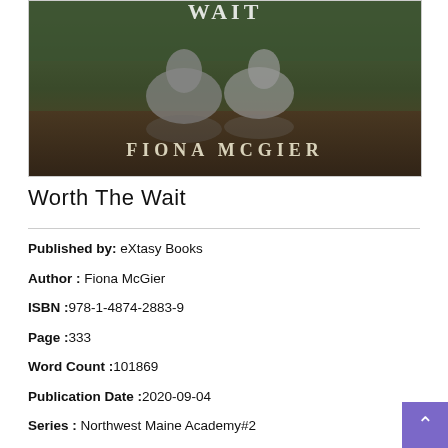[Figure (photo): Book cover for 'Worth The Wait' by Fiona McGier, featuring two wolves near a reflective body of water with forest in the background. The author name 'Fiona McGier' is displayed in large text at the bottom of the cover image.]
Worth The Wait
Published by: eXtasy Books
Author : Fiona McGier
ISBN :978-1-4874-2883-9
Page :333
Word Count :101869
Publication Date :2020-09-04
Series : Northwest Maine Academy#2